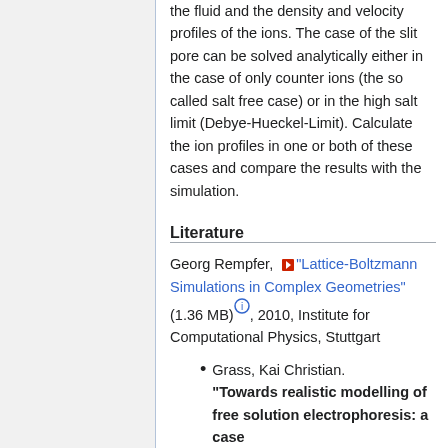the fluid and the density and velocity profiles of the ions. The case of the slit pore can be solved analytically either in the case of only counter ions (the so called salt free case) or in the high salt limit (Debye-Hueckel-Limit). Calculate the ion profiles in one or both of these cases and compare the results with the simulation.
Literature
Georg Rempfer, "Lattice-Boltzmann Simulations in Complex Geometries" (1.36 MB), 2010, Institute for Computational Physics, Stuttgart
Grass, Kai Christian. "Towards realistic modelling of free solution electrophoresis: a case...